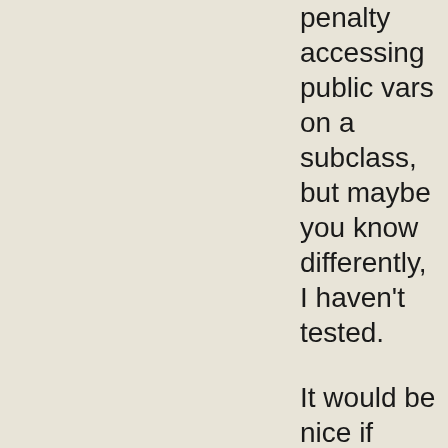penalty accessing public vars on a subclass, but maybe you know differently, I haven't tested.
It would be nice if getters in an interface could be implemented as public vars in an implementation and still get the performance benefit, but maybe this